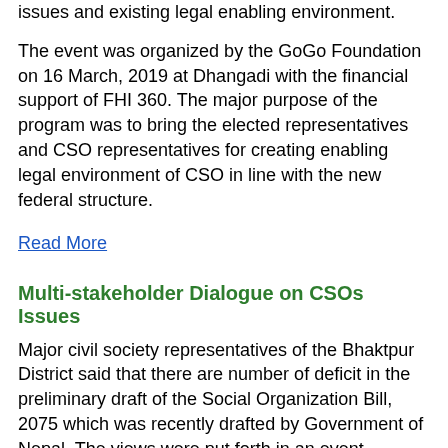issues and existing legal enabling environment.
The event was organized by the GoGo Foundation on 16 March, 2019 at Dhangadi with the financial support of FHI 360. The major purpose of the program was to bring the elected representatives and CSO representatives for creating enabling legal environment of CSO in line with the new federal structure.
Read More
Multi-stakeholder Dialogue on CSOs Issues
Major civil society representatives of the Bhaktpur District said that there are number of deficit in the preliminary draft of the Social Organization Bill, 2075 which was recently drafted by Government of Nepal. The views were put forth in an event organized by the GoGo Foundation on 15 February 2019 at Bhaktapur under the aegis of FHI 360; aiming to sensitize and collect the current issue and